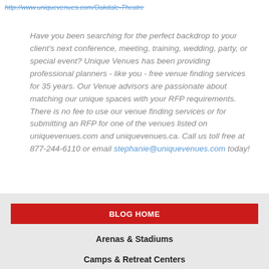http://www.uniquevenues.com/Oakdale-Theatre
Have you been searching for the perfect backdrop to your client's next conference, meeting, training, wedding, party, or special event? Unique Venues has been providing professional planners - like you - free venue finding services for 35 years. Our Venue advisors are passionate about matching our unique spaces with your RFP requirements. There is no fee to use our venue finding services or for submitting an RFP for one of the venues listed on uniquevenues.com and uniquevenues.ca. Call us toll free at 877-244-6110 or email stephanie@uniquevenues.com today!
BLOG HOME
Arenas & Stadiums
Camps & Retreat Centers